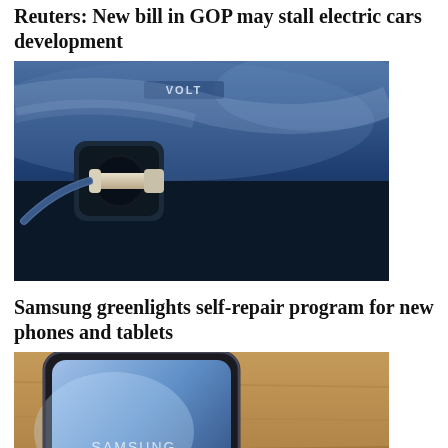Reuters: New bill in GOP may stall electric cars development
[Figure (photo): Close-up of an electric car charging port with a charging cable plugged in, showing a dark blue car with a white charging connector]
Samsung greenlights self-repair program for new phones and tablets
[Figure (photo): Close-up of a Samsung Galaxy smartphone showing the curved screen and Samsung branding, resting on a wooden surface]
DISCOVERY
Bloomberg lists key economic risks for 2022
[Figure (photo): Partial view of a news article image, appears to show a building or financial subject, cropped at bottom of page]